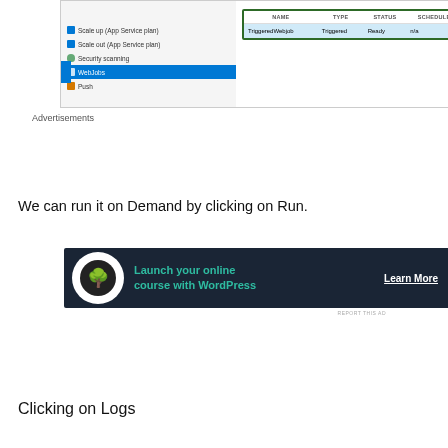[Figure (screenshot): Azure portal screenshot showing WebJobs menu selected and a table with columns NAME, TYPE, STATUS, SCHEDULE. Row: TriggeredWebjob, Triggered, Ready, n/a. Table outlined in green border.]
Advertisements
[Figure (illustration): Advertisement banner: dark background with tree logo, text 'Launch your online course with WordPress', and 'Learn More' button.]
We can run it on Demand by clicking on Run.
[Figure (screenshot): Azure portal screenshot showing WebJobs interface with toolbar (Add, Refresh, Logs, Delete, Run, Properties). Run button highlighted with green border. Blue loading bar shows 'Loading WebJobs...'. Notification: 'WebJob is now running 10:16 PM, Successfully running TriggeredWebjob'. Table shows NAME, TYPE, STATUS, SCHEDULE columns with row: TriggeredWebjob, Triggered, Ready, n/a]
Clicking on Logs